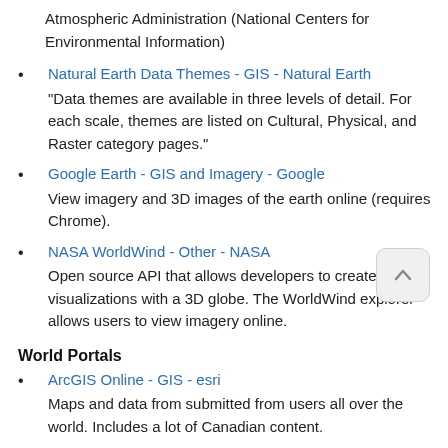Atmospheric Administration (National Centers for Environmental Information)
Natural Earth Data Themes - GIS - Natural Earth
"Data themes are available in three levels of detail. For each scale, themes are listed on Cultural, Physical, and Raster category pages."
Google Earth - GIS and Imagery - Google
View imagery and 3D images of the earth online (requires Chrome).
NASA WorldWind - Other - NASA
Open source API that allows developers to create visualizations with a 3D globe. The WorldWind explorer allows users to view imagery online.
World Portals
ArcGIS Online - GIS - esri
Maps and data from submitted from users all over the world. Includes a lot of Canadian content.